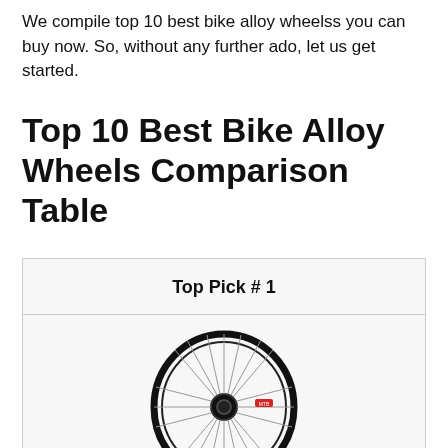We compile top 10 best bike alloy wheelss you can buy now. So, without any further ado, let us get started.
Top 10 Best Bike Alloy Wheels Comparison Table
| Top Pick # 1 |
| --- |
| [bike wheel image] |
[Figure (photo): Photograph of a black alloy bicycle wheel with spokes and black hub, shown as the Top Pick #1 product image inside a comparison table.]